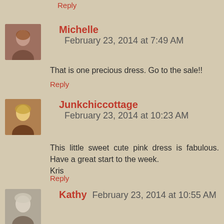Reply
Michelle  February 23, 2014 at 7:49 AM
That is one precious dress. Go to the sale!!
Reply
Junkchiccottage  February 23, 2014 at 10:23 AM
This little sweet cute pink dress is fabulous. Have a great start to the week.
Kris
Reply
Kathy  February 23, 2014 at 10:55 AM
That is just adorable and imagine the work it took to make with all the details!
Reply